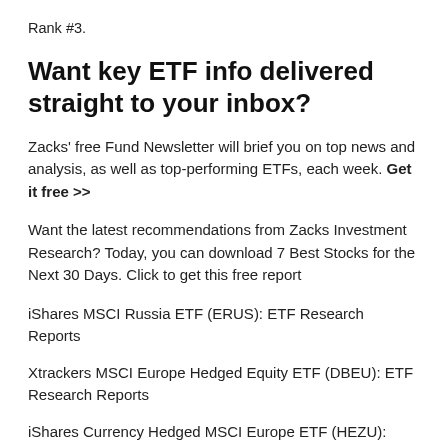Rank #3.
Want key ETF info delivered straight to your inbox?
Zacks' free Fund Newsletter will brief you on top news and analysis, as well as top-performing ETFs, each week. Get it free >>
Want the latest recommendations from Zacks Investment Research? Today, you can download 7 Best Stocks for the Next 30 Days. Click to get this free report
iShares MSCI Russia ETF (ERUS): ETF Research Reports
Xtrackers MSCI Europe Hedged Equity ETF (DBEU): ETF Research Reports
iShares Currency Hedged MSCI Europe ETF (HEZU):